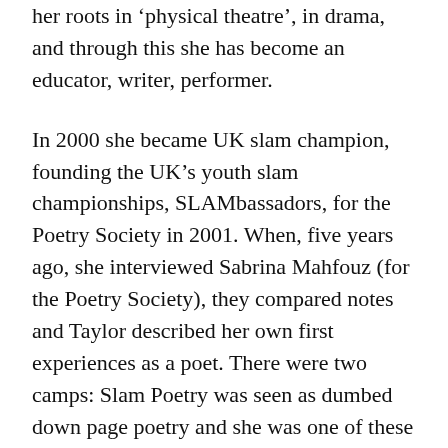her roots in 'physical theatre', in drama, and through this she has become an educator, writer, performer.
In 2000 she became UK slam champion, founding the UK's youth slam championships, SLAMbassadors, for the Poetry Society in 2001. When, five years ago, she interviewed Sabrina Mahfouz (for the Poetry Society), they compared notes and Taylor described her own first experiences as a poet. There were two camps: Slam Poetry was seen as dumbed down page poetry and she was one of these “illiterati” in the performance world. Sabrina and Joelle described an hierarchy, obsessed with ordering difference, allowing only the “top couple to have critical importance”. Spoken word was working class and page poetry was “for real clever people”.
But things changed and eventually they were performing